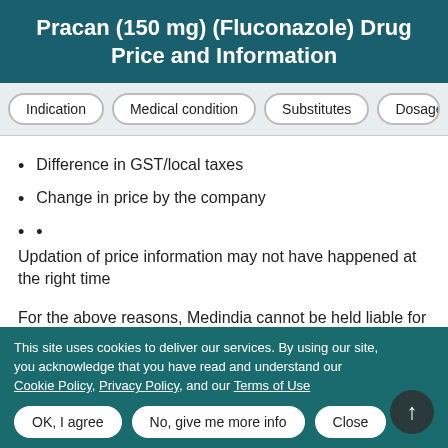Pracan (150 mg) (Fluconazole) Drug Price and Information
Indication | Medical condition | Substitutes | Dosage
Difference in GST/local taxes
Change in price by the company
Updation of price information may not have happened at the right time
For the above reasons, Medindia cannot be held liable for any action taken based on the information provided by its website. The purpose of this website is to provide initial guidance only and it does not intend to replace professional medical opinion in any manner whatsoever.
This site uses cookies to deliver our services. By using our site, you acknowledge that you have read and understand our Cookie Policy, Privacy Policy, and our Terms of Use